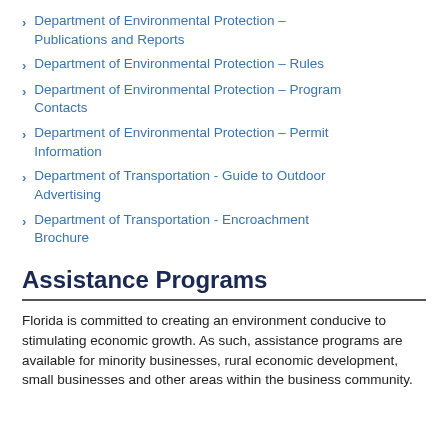Department of Environmental Protection – Publications and Reports
Department of Environmental Protection – Rules
Department of Environmental Protection – Program Contacts
Department of Environmental Protection – Permit Information
Department of Transportation - Guide to Outdoor Advertising
Department of Transportation - Encroachment Brochure
Assistance Programs
Florida is committed to creating an environment conducive to stimulating economic growth. As such, assistance programs are available for minority businesses, rural economic development, small businesses and other areas within the business community.